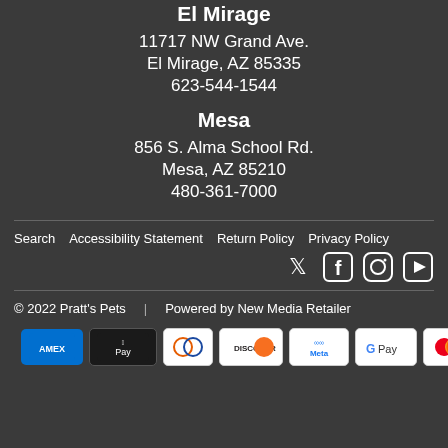El Mirage
11717 NW Grand Ave.
El Mirage, AZ 85335
623-544-1544
Mesa
856 S. Alma School Rd.
Mesa, AZ 85210
480-361-7000
Search   Accessibility Statement   Return Policy   Privacy Policy
[Figure (infographic): Social media icons: Twitter, Facebook, Instagram, YouTube]
© 2022 Pratt's Pets    Powered by New Media Retailer
[Figure (infographic): Payment method logos: Amex, Apple Pay, Diners Club, Discover, Meta Pay, Google Pay, Mastercard, Shop Pay, Visa]